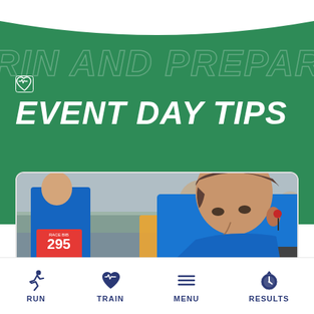EVENT DAY TIPS
[Figure (photo): Runners at a race start line; a young man in a blue t-shirt with wireless earbuds is in the foreground looking down, a runner with race bib number 295 visible in the background.]
RUN   TRAIN   MENU   RESULTS